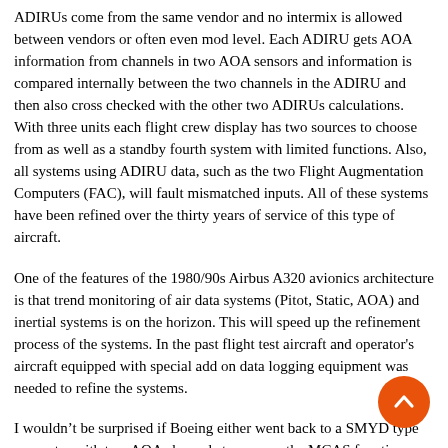ADIRUs come from the same vendor and no intermix is allowed between vendors or often even mod level. Each ADIRU gets AOA information from channels in two AOA sensors and information is compared internally between the two channels in the ADIRU and then also cross checked with the other two ADIRUs calculations. With three units each flight crew display has two sources to choose from as well as a standby fourth system with limited functions. Also, all systems using ADIRU data, such as the two Flight Augmentation Computers (FAC), will fault mismatched inputs. All of these systems have been refined over the thirty years of service of this type of aircraft.
One of the features of the 1980/90s Airbus A320 avionics architecture is that trend monitoring of air data systems (Pitot, Static, AOA) and inertial systems is on the horizon. This will speed up the refinement process of the systems. In the past flight test aircraft and operator's aircraft equipped with special add on data logging equipment was needed to refine the systems.
I wouldn't be surprised if Boeing either went back to a SMYD type computer with two AOA channels to remove the MCAS function from the FCC or added a boat-load of aerodynamic add-ons to correct the pitch back…